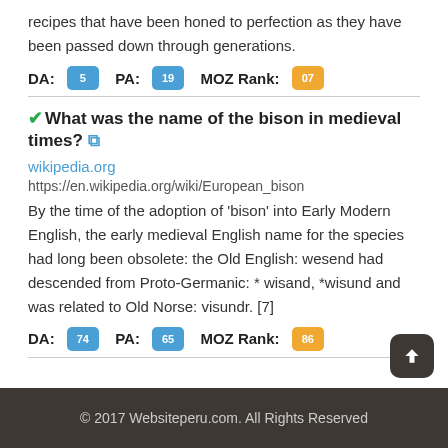recipes that have been honed to perfection as they have been passed down through generations.
DA: 5  PA: 19  MOZ Rank: 07
✓What was the name of the bison in medieval times? 🔗
wikipedia.org
https://en.wikipedia.org/wiki/European_bison
By the time of the adoption of 'bison' into Early Modern English, the early medieval English name for the species had long been obsolete: the Old English: wesend had descended from Proto-Germanic: * wisand, *wisund and was related to Old Norse: visundr. [7]
DA: 74  PA: 65  MOZ Rank: 86
© 2017 Websiteperu.com. All Rights Reserved